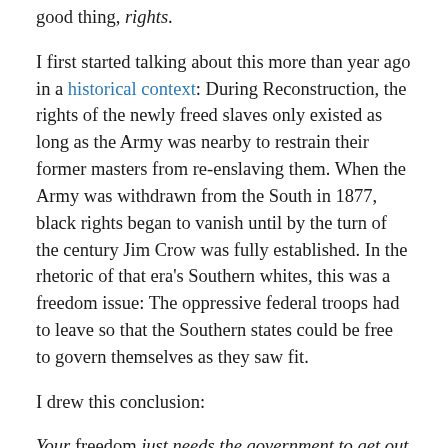good thing, rights.
I first started talking about this more than year ago in a historical context: During Reconstruction, the rights of the newly freed slaves only existed as long as the Army was nearby to restrain their former masters from re-enslaving them. When the Army was withdrawn from the South in 1877, black rights began to vanish until by the turn of the century Jim Crow was fully established. In the rhetoric of that era's Southern whites, this was a freedom issue: The oppressive federal troops had to leave so that the Southern states could be free to govern themselves as they saw fit.
I drew this conclusion:
Your freedom just needs the government to get out of your way, but your rights require government involvement.